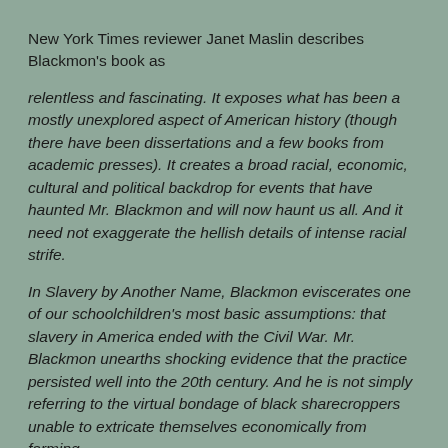New York Times reviewer Janet Maslin describes Blackmon's book as
relentless and fascinating. It exposes what has been a mostly unexplored aspect of American history (though there have been dissertations and a few books from academic presses). It creates a broad racial, economic, cultural and political backdrop for events that have haunted Mr. Blackmon and will now haunt us all. And it need not exaggerate the hellish details of intense racial strife.
In Slavery by Another Name, Blackmon eviscerates one of our schoolchildren's most basic assumptions: that slavery in America ended with the Civil War. Mr. Blackmon unearths shocking evidence that the practice persisted well into the 20th century. And he is not simply referring to the virtual bondage of black sharecroppers unable to extricate themselves economically from farming.